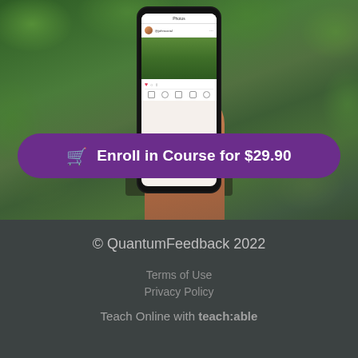[Figure (photo): Hand holding a smartphone displaying an Instagram-like app, surrounded by lush green foliage in an outdoor setting. A purple rounded-rectangle button overlays the image with a shopping cart icon and text 'Enroll in Course for $29.90'.]
Enroll in Course for $29.90
© QuantumFeedback 2022
Terms of Use
Privacy Policy
Teach Online with teachable